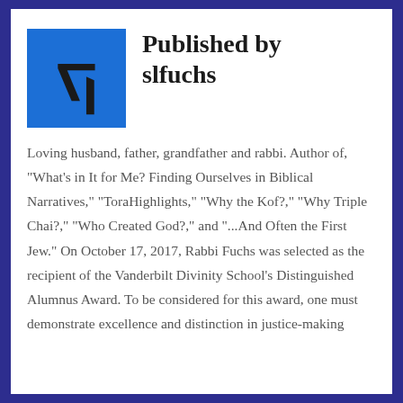[Figure (illustration): Blue square avatar with a Hebrew letter Kof (ק) symbol in black]
Published by slfuchs
Loving husband, father, grandfather and rabbi. Author of, "What's in It for Me? Finding Ourselves in Biblical Narratives," "ToraHighlights," "Why the Kof?," "Why Triple Chai?," "Who Created God?," and "...And Often the First Jew." On October 17, 2017, Rabbi Fuchs was selected as the recipient of the Vanderbilt Divinity School's Distinguished Alumnus Award. To be considered for this award, one must demonstrate excellence and distinction in justice-making